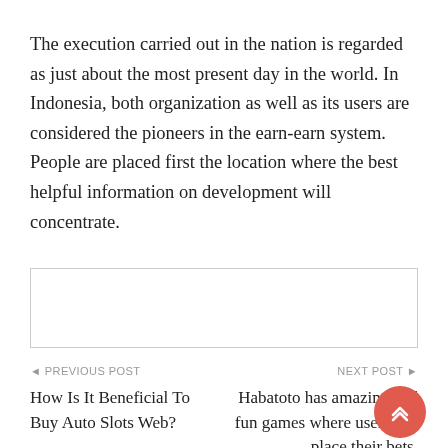The execution carried out in the nation is regarded as just about the most present day in the world. In Indonesia, both organization as well as its users are considered the pioneers in the earn-earn system. People are placed first the location where the best helpful information on development will concentrate.
[Figure (other): Empty bordered rectangle placeholder box]
◄ PREVIOUS POST
How Is It Beneficial To Buy Auto Slots Web?
NEXT POST ►
Habatoto has amazing and fun games where users can place their bets.